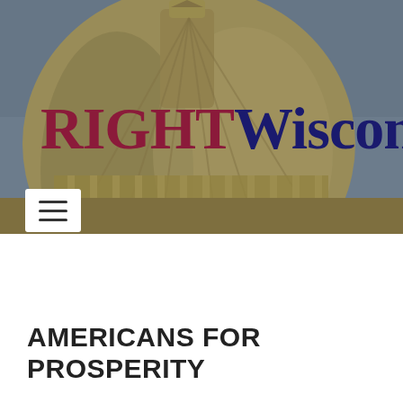[Figure (photo): Photo of a government building dome (Capitol building) with grayish-blue sky background. The dome is beige/gold colored and fills most of the header area.]
RIGHTWisconsin
AMERICANS FOR PROSPERITY